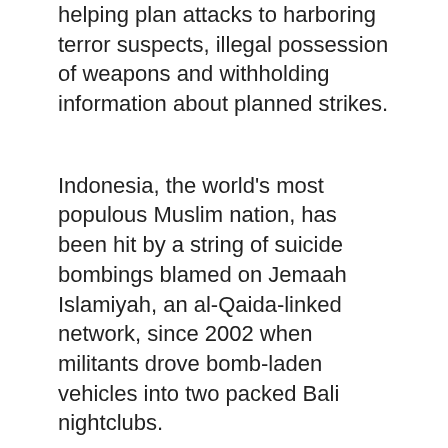helping plan attacks to harboring terror suspects, illegal possession of weapons and withholding information about planned strikes.
Indonesia, the world's most populous Muslim nation, has been hit by a string of suicide bombings blamed on Jemaah Islamiyah, an al-Qaida-linked network, since 2002 when militants drove bomb-laden vehicles into two packed Bali nightclubs.
More than 600 militants have been arrested, convicted and thrown in jail since then.
The government has come under fire for its rehabilitation programs, however, with critics saying